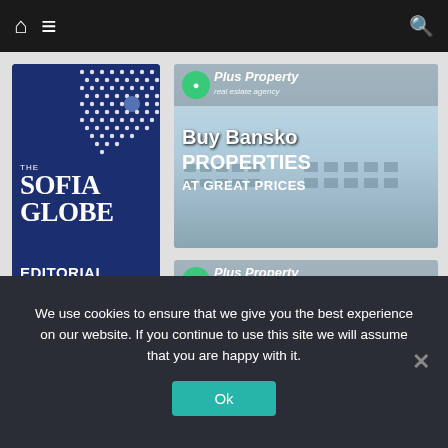The Sofia Globe — navigation bar with home, menu, and search icons
[Figure (logo): The Sofia Globe Editorial Charter book cover — dark blue background with dot pattern, white text reading 'THE SOFIA GLOBE EDITORIAL CHARTER']
[Figure (illustration): Plus Property real estate agency ad — Buy Bansko Properties at Great Prices, with sky/building background]
[Figure (illustration): Plus Property real estate agency ad — Buy or Sell Properties at Great Prices, with sky/building background]
We use cookies to ensure that we give you the best experience on our website. If you continue to use this site we will assume that you are happy with it.